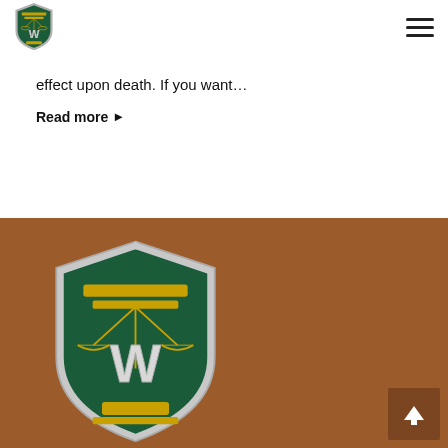[Figure (logo): Shield-shaped law firm logo with W letter and scales of justice, small size in navigation bar]
effect upon death. If you want…
Read more ▶
[Figure (logo): Large shield-shaped law firm logo with W letter and scales of justice on brown background]